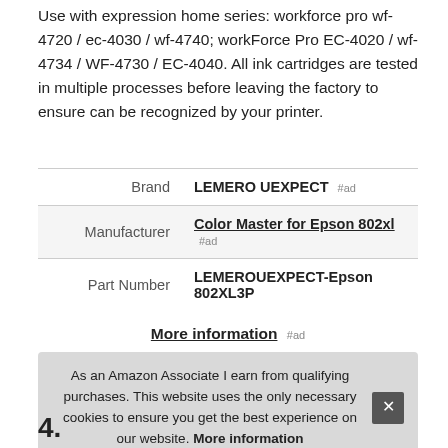Use with expression home series: workforce pro wf-4720 / ec-4030 / wf-4740; workForce Pro EC-4020 / wf-4734 / WF-4730 / EC-4040. All ink cartridges are tested in multiple processes before leaving the factory to ensure can be recognized by your printer.
|  |  |
| --- | --- |
| Brand | LEMERO UEXPECT #ad |
| Manufacturer | Color Master for Epson 802xl #ad |
| Part Number | LEMEROUEXPECT-Epson 802XL3P |
More information #ad
As an Amazon Associate I earn from qualifying purchases. This website uses the only necessary cookies to ensure you get the best experience on our website. More information
4.